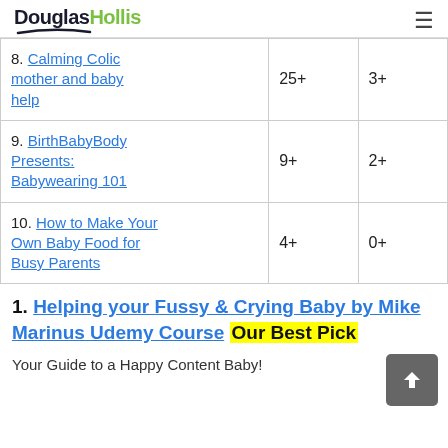DouglasHollis
|  |  |  |
| --- | --- | --- |
| 8. Calming Colic mother and baby help | 25+ | 3+ |
| 9. BirthBabyBody Presents: Babywearing 101 | 9+ | 2+ |
| 10. How to Make Your Own Baby Food for Busy Parents | 4+ | 0+ |
1. Helping your Fussy & Crying Baby by Mike Marinus Udemy Course Our Best Pick
Your Guide to a Happy Content Baby!